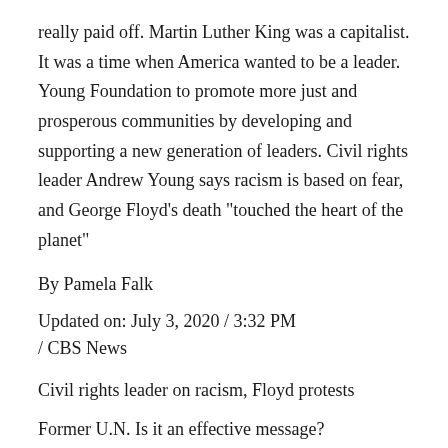really paid off. Martin Luther King was a capitalist. It was a time when America wanted to be a leader. Young Foundation to promote more just and prosperous communities by developing and supporting a new generation of leaders. Civil rights leader Andrew Young says racism is based on fear, and George Floyd’s death “touched the heart of the planet”
By Pamela Falk
Updated on: July 3, 2020 / 3:32 PM / CBS News
Civil rights leader on racism, Floyd protests
Former U.N. Is it an effective message?
Well, I think that the anger is not productive. You know, I say that, when I was working with Martin Luther King we hardly had telephones in most of the residences where we stayed. House of Representatives (1973-1977), U.S. And somehow this little virus has gotten to everywhere, with everybody, and it reminded us: We are one family